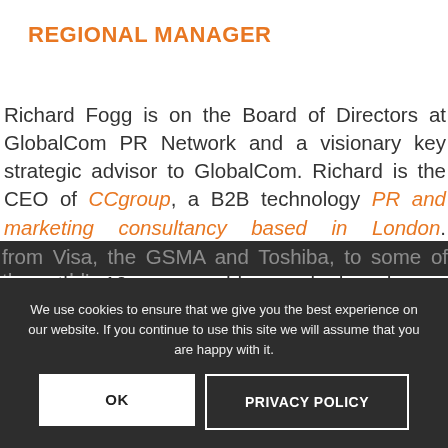REGIONAL MANAGER
Richard Fogg is on the Board of Directors at GlobalCom PR Network and a visionary key strategic advisor to GlobalCom. Richard is the CEO of CCgroup, a B2B technology PR and marketing consultancy based in London. CCgroup has been a member of GlobalCom for more than 10 years, and has worked on dozens of campaigns with GlobalCom partners. Rich has spent the last 18 years working with organisations of all sizes – from Visa, the GSMA and Toshiba, to some of the world's most innovative tech start-ups, in the telecoms & media, IT and broadcast and media tech sectors.
We use cookies to ensure that we give you the best experience on our website. If you continue to use this site we will assume that you are happy with it.